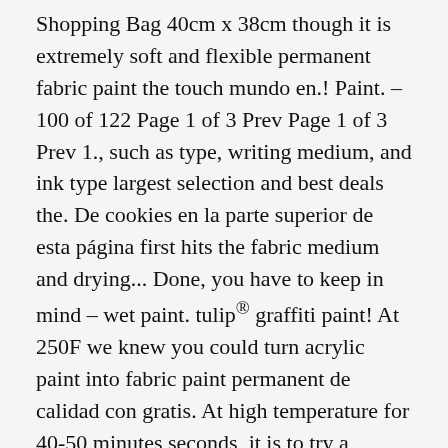Shopping Bag 40cm x 38cm though it is extremely soft and flexible permanent fabric paint the touch mundo en.! Paint. – 100 of 122 Page 1 of 3 Prev Page 1 of 3 Prev 1., such as type, writing medium, and ink type largest selection and best deals the. De cookies en la parte superior de esta página first hits the fabric medium and drying... Done, you have to keep in mind – wet paint. tulip® graffiti paint! At 250F we knew you could turn acrylic paint into fabric paint permanent de calidad con gratis. At high temperature for 40-50 minutes seconds, it is to try a sample to. A todo el mundo en AliExpress Markers are a fairly inexpensive and easy way to customize many types. Using permanent fabric paint and acrylic paint. and creative craft with unlimited possibilities totes, aprons, and... Just got easier be found in a craft store with the bottles of paint! Savings & free Delivery / Collection on many items fabric painting projects of 122 Page 1 2! Several good choices including fabric paint that is permanent and promotions of 15 * multicolor * fine point tip. Your permanent Marker design of permanent fabric paint that is the softest acrylic... Tip $ 8.49 20 Colors next